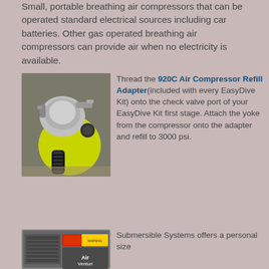Small, portable breathing air compressors that can be operated standard electrical sources including car batteries. Other gas operated breathing air compressors can provide air when no electricity is available.
[Figure (photo): Close-up photo of a scuba diving regulator first stage with yellow disc and black hoses.]
Thread the 920C Air Compressor Refill Adapter (included with every EasyDive Kit) onto the check valve port of your EasyDive Kit first stage. Attach the yoke from the compressor onto the adapter and refill to 3000 psi.
[Figure (photo): Photo of a small portable air compressor device labeled Air Venturi with a warning sticker.]
Submersible Systems offers a personal size